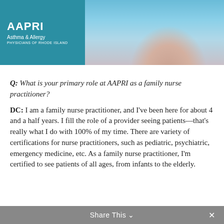[Figure (photo): Header image showing AAPRI Asthma & Allergy Physicians of Rhode Island logo on teal background (left) and a partial photo of a woman (right)]
Q: What is your primary role at AAPRI as a family nurse practitioner?
DC: I am a family nurse practitioner, and I've been here for about 4 and a half years. I fill the role of a provider seeing patients—that's really what I do with 100% of my time. There are variety of certifications for nurse practitioners, such as pediatric, psychiatric, emergency medicine, etc. As a family nurse practitioner, I'm certified to see patients of all ages, from infants to the elderly.
Share This ∨  ×